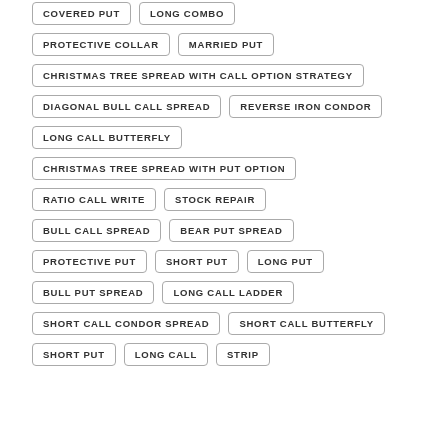COVERED PUT
LONG COMBO
PROTECTIVE COLLAR
MARRIED PUT
CHRISTMAS TREE SPREAD WITH CALL OPTION STRATEGY
DIAGONAL BULL CALL SPREAD
REVERSE IRON CONDOR
LONG CALL BUTTERFLY
CHRISTMAS TREE SPREAD WITH PUT OPTION
RATIO CALL WRITE
STOCK REPAIR
BULL CALL SPREAD
BEAR PUT SPREAD
PROTECTIVE PUT
SHORT PUT
LONG PUT
BULL PUT SPREAD
LONG CALL LADDER
SHORT CALL CONDOR SPREAD
SHORT CALL BUTTERFLY
SHORT PUT
LONG CALL
STRIP